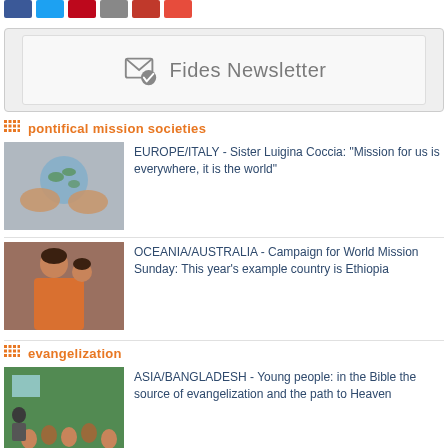[Figure (other): Row of social media share buttons: Facebook (blue), Twitter (light blue), Pinterest (red), Email (gray), Print (dark red), another red button]
[Figure (other): Fides Newsletter banner with envelope/checkmark icon and text 'Fides Newsletter' in gray]
pontifical mission societies
[Figure (photo): Hands holding a globe showing world map]
EUROPE/ITALY - Sister Luigina Coccia: "Mission for us is everywhere, it is the world"
[Figure (photo): African mother carrying baby on her back, wearing orange clothing]
OCEANIA/AUSTRALIA - Campaign for World Mission Sunday: This year's example country is Ethiopia
evangelization
[Figure (photo): Classroom scene in Bangladesh with many young people and a speaker]
ASIA/BANGLADESH - Young people: in the Bible the source of evangelization and the path to Heaven